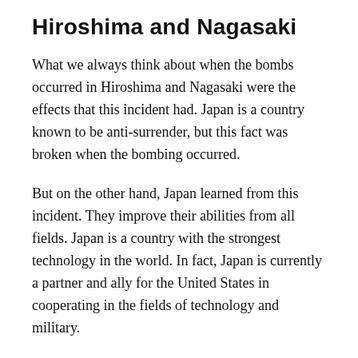Hiroshima and Nagasaki
What we always think about when the bombs occurred in Hiroshima and Nagasaki were the effects that this incident had. Japan is a country known to be anti-surrender, but this fact was broken when the bombing occurred.
But on the other hand, Japan learned from this incident. They improve their abilities from all fields. Japan is a country with the strongest technology in the world. In fact, Japan is currently a partner and ally for the United States in cooperating in the fields of technology and military.